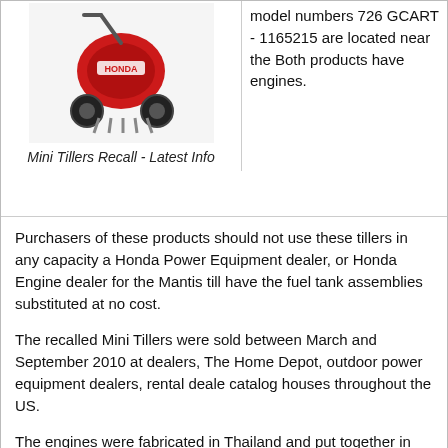[Figure (photo): Honda mini tiller red machine]
Mini Tillers Recall - Latest Info
model numbers 726 GCART - 1165215 are located near the Both products have engines.
Purchasers of these products should not use these tillers in any capacity and should contact a Honda Power Equipment dealer, or Honda Engine dealer for the Mantis tiller to schedule an appointment to have the fuel tank assemblies substituted at no cost.
The recalled Mini Tillers were sold between March and September 2010 at Honda Power Equipment dealers, The Home Depot, outdoor power equipment dealers, rental dealers, internet websites, and catalog houses throughout the US.
The engines were fabricated in Thailand and put together in the US employing domestically and internationally sourced material.
There are no reported injuries linked to the defective grommets.
Tags: mini tillers, recall
[Figure (infographic): Advertisement banner: WHAT'S YOUR CREDIT SCORE? FIND OUT FOR FREE!]